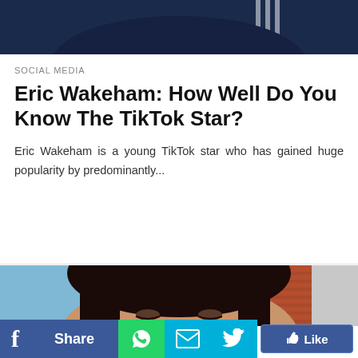[Figure (photo): Top portion of a person in dark blue jacket, partially cropped at top of page]
SOCIAL MEDIA
Eric Wakeham: How Well Do You Know The TikTok Star?
Eric Wakeham is a young TikTok star who has gained huge popularity by predominantly...
[Figure (photo): Young woman with long dark hair, looking at camera, brick wall and blue wall in background]
[Figure (other): Social media sharing bar with Facebook share, WhatsApp, email, Twitter, and Like buttons]